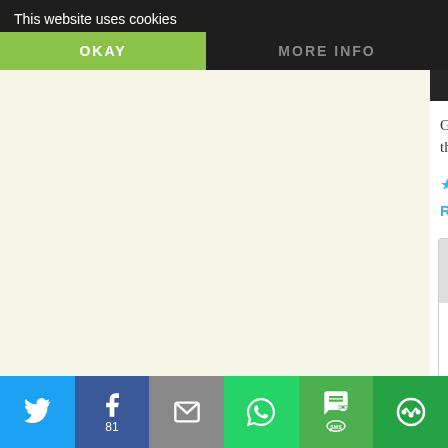This website uses cookies
OKAY
MORE INFO
kolpavat says:
October 15, 2015 at 10:59 pm
Great what will Croatia receive in return refugee quotas forced upon them by th
Like
Reply
inavukic says:
October 16, 2015 at 7:00 am
We are yet to see, kolpavat
Loading...
Reply
Twitter Facebook Email WhatsApp SMS Options 81